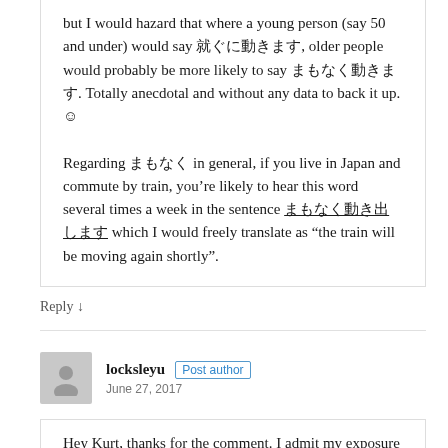but I would hazard that where a young person (say 50 and under) would say ［japanese text］, older people would probably be more likely to say ［japanese text］. Totally anecdotal and without any data to back it up. ☺

Regarding ［japanese text］ in general, if you live in Japan and commute by train, you're likely to hear this word several times a week in the sentence ［japanese text］ which I would freely translate as "the train will be moving again shortly".
Reply ↓
locksleyu
Post author
June 27, 2017
Hey Kurt, thanks for the comment. I admit my exposure with Japanese people over 50 is much less than